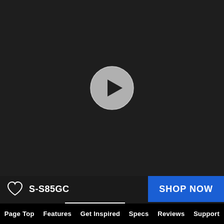[Figure (screenshot): Dark video player area with a circular grey play button in the center, on a near-black background]
S-S85GC
SHOP NOW
Page Top
Features
Get Inspired
Specs
Reviews
Support